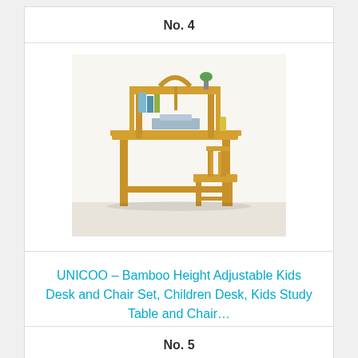No. 4
[Figure (photo): Bamboo kids desk and chair set with adjustable height, bookshelf on top, and wooden stool]
UNICOO – Bamboo Height Adjustable Kids Desk and Chair Set, Children Desk, Kids Study Table and Chair…
Check Latest Price
No. 5